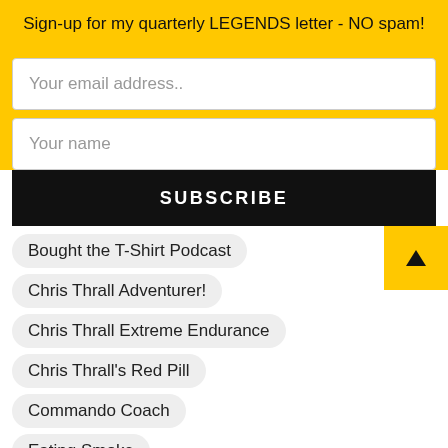Sign-up for my quarterly LEGENDS letter - NO spam!
Your email address..
Your name
SUBSCRIBE
Bought the T-Shirt Podcast
Chris Thrall Adventurer!
Chris Thrall Extreme Endurance
Chris Thrall's Red Pill
Commando Coach
Eating Smoke
Hans Larsson Series
Law and Order
Martial Arts